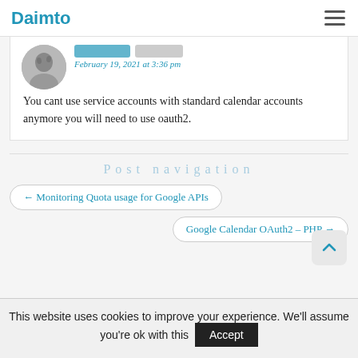Daimto
February 19, 2021 at 3:36 pm
You cant use service accounts with standard calendar accounts anymore you will need to use oauth2.
Post navigation
← Monitoring Quota usage for Google APIs
Google Calendar OAuth2 – PHP →
This website uses cookies to improve your experience. We'll assume you're ok with this
Accept